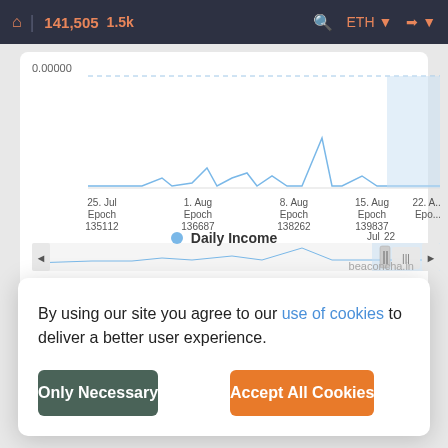141,505  1.5k  ETH
[Figure (continuous-plot): Daily Income chart showing small spikes in line chart from 25 Jul (Epoch 135112) to 22 Aug, with x-axis labels: 25. Jul Epoch 135112, 1. Aug Epoch 136687, 8. Aug Epoch 138262, 15. Aug Epoch 139837, 22. A... Epo...; y-axis starts at 0.00000; a scrollbar/navigator at bottom with Jul 22 label]
Daily Income
beaconcha.in
Validator History
Ep
By using our site you agree to our use of cookies to deliver a better user experience.
Only Necessary
Accept All Cookies